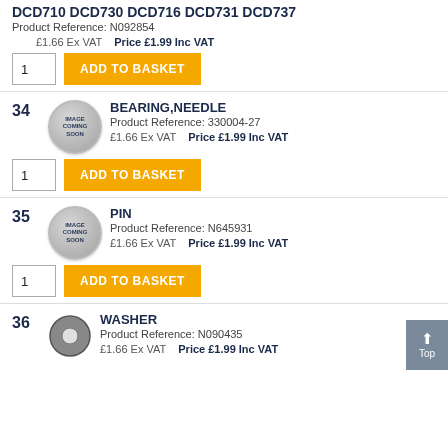DCD710 DCD730 DCD716 DCD731 DCD737
Product Reference: N092854
£1.66 Ex VAT   Price £1.99 Inc VAT
ADD TO BASKET
34
BEARING,NEEDLE
Product Reference: 330004-27
£1.66 Ex VAT   Price £1.99 Inc VAT
ADD TO BASKET
35
PIN
Product Reference: N645931
£1.66 Ex VAT   Price £1.99 Inc VAT
ADD TO BASKET
36
WASHER
Product Reference: N090435
£1.66 Ex VAT   Price £1.99 Inc VAT